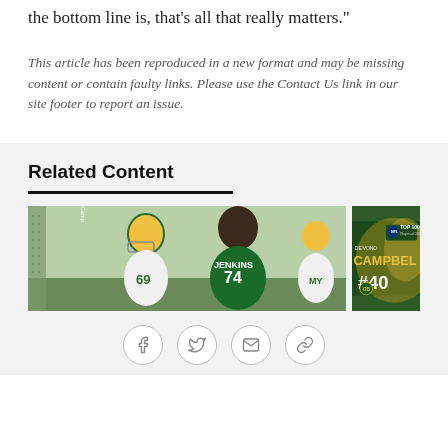the bottom line is, that's all that really matters."
This article has been reproduced in a new format and may be missing content or contain faulty links. Please use the Contact Us link in our site footer to report an issue.
Related Content
[Figure (photo): Green Bay Packers players at training camp, including players with jerseys number 69 and 74 (Jenkins), wearing green and white uniforms with yellow helmets. Hashtag #PackersCamp visible.]
[Figure (photo): NFL Top 100 Players of 2022 promotional image featuring De'Vondre Campbell #40, Green Bay Packers, with green and gold design elements.]